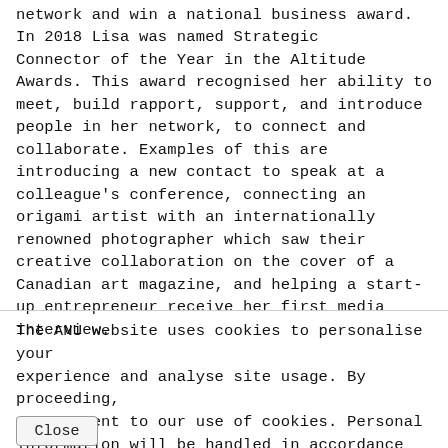network and win a national business award. In 2018 Lisa was named Strategic Connector of the Year in the Altitude Awards. This award recognised her ability to meet, build rapport, support, and introduce people in her network, to connect and collaborate. Examples of this are introducing a new contact to speak at a colleague's conference, connecting an origami artist with an internationally renowned photographer which saw their creative collaboration on the cover of a Canadian art magazine, and helping a start-up entrepreneur receive her first media interview.
The ANU website uses cookies to personalise your experience and analyse site usage. By proceeding, you consent to our use of cookies. Personal information will be handled in accordance with the ANU Privacy Policy
Close